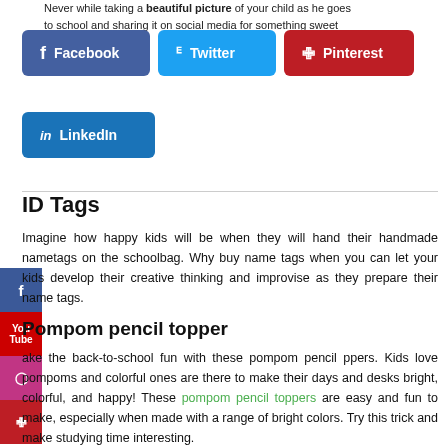Never while taking a beautiful picture of your child as he goes to school and sharing it on social media for something sweet
[Figure (other): Social share buttons: Facebook (blue), Twitter (light blue), Pinterest (red), LinkedIn (blue)]
ID Tags
Imagine how happy kids will be when they will hand their handmade nametags on the schoolbag. Why buy name tags when you can let your kids develop their creative thinking and improvise as they prepare their name tags.
Pompom pencil topper
Make the back-to-school fun with these pompom pencil toppers. Kids love pompoms and colorful ones are there to make their days and desks bright, colorful, and happy! These pompom pencil toppers are easy and fun to make, especially when made with a range of bright colors. Try this trick and make studying time interesting.